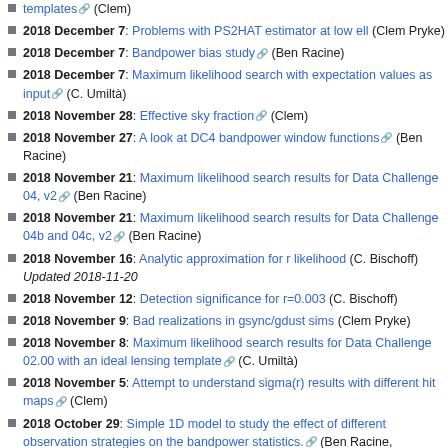templates (Clem)
2018 December 7: Problems with PS2HAT estimator at low ell (Clem Pryke)
2018 December 7: Bandpower bias study (Ben Racine)
2018 December 7: Maximum likelihood search with expectation values as input (C. Umiltà)
2018 November 28: Effective sky fraction (Clem)
2018 November 27: A look at DC4 bandpower window functions (Ben Racine)
2018 November 21: Maximum likelihood search results for Data Challenge 04, v2 (Ben Racine)
2018 November 21: Maximum likelihood search results for Data Challenge 04b and 04c, v2 (Ben Racine)
2018 November 16: Analytic approximation for r likelihood (C. Bischoff) Updated 2018-11-20
2018 November 12: Detection significance for r=0.003 (C. Bischoff)
2018 November 9: Bad realizations in gsync/gdust sims (Clem Pryke)
2018 November 8: Maximum likelihood search results for Data Challenge 02.00 with an ideal lensing template (C. Umiltà)
2018 November 5: Attempt to understand sigma(r) results with different hit maps (Clem)
2018 October 29: Simple 1D model to study the effect of different observation strategies on the bandpower statistics. (Ben Racine,